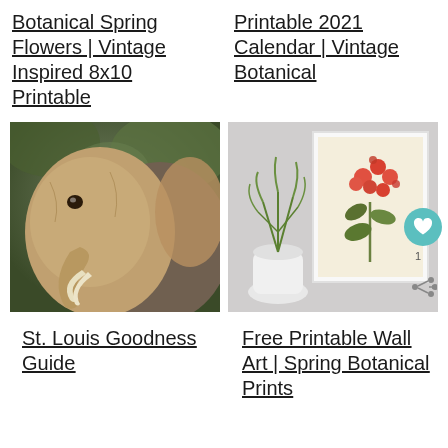Botanical Spring Flowers | Vintage Inspired 8x10 Printable
Printable 2021 Calendar | Vintage Botanical
[Figure (photo): Close-up photo of an elephant with tusks against a natural green background]
[Figure (photo): Botanical print of red/pink flowers in a white frame, with a potted plant beside it on a white surface]
St. Louis Goodness Guide
Free Printable Wall Art | Spring Botanical Prints